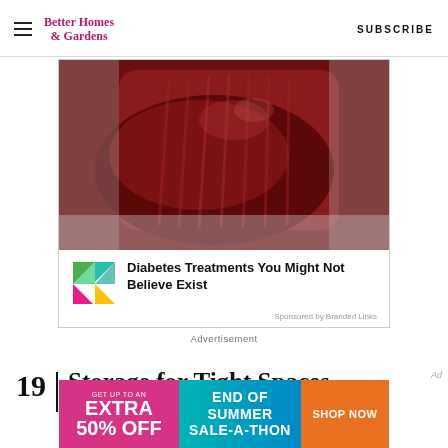Better Homes & Gardens | SUBSCRIBE
[Figure (photo): Close-up photo of a dark red cranberry sauce or similar gelatinous food being removed from a ribbed metal can]
[Figure (logo): Colorful geometric logo with green, pink/red, and yellow triangular shapes]
Diabetes Treatments You Might Not Believe Exist
Sponsored by Branded Links
Advertisement
19
Storage for Tight Spaces
[Figure (infographic): End of Summer Sale-A-Thon banner advertisement: left pink section says GET UP TO AN EXTRA 50% OFF, center teal/blue section says END OF SUMMER SALE-A-THON, right orange section says SHOP NOW]